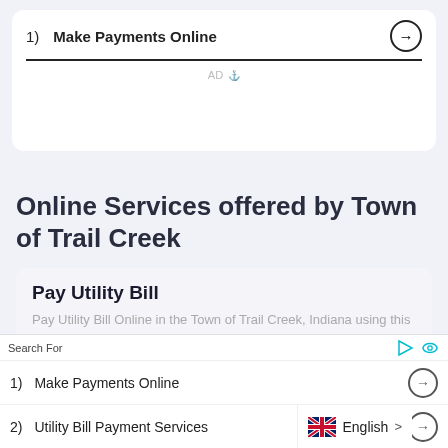1) Make Payments Online
AD
Online Services offered by Town of Trail Creek
Pay Utility Bill
Pay Utility Bill Online in the Town of Trail Creek, Indiana using this service!
PAY NOW
Search For
1) Make Payments Online
2) Utility Bill Payment Services
English >